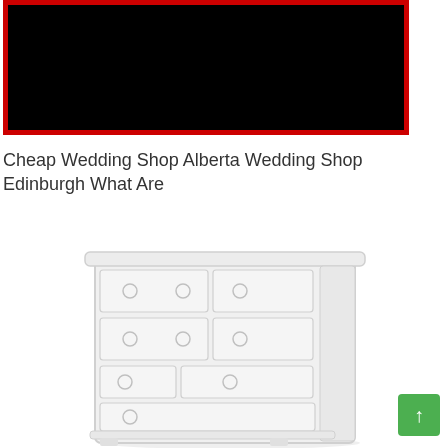[Figure (screenshot): Black rectangle with red border representing a video embed placeholder]
Cheap Wedding Shop Alberta Wedding Shop Edinburgh What Are
[Figure (illustration): Light gray/white dresser with multiple drawers and circular drawer pulls, drawn in a faded sketch style]
[Figure (other): Green scroll-to-top button with upward arrow in bottom right corner]